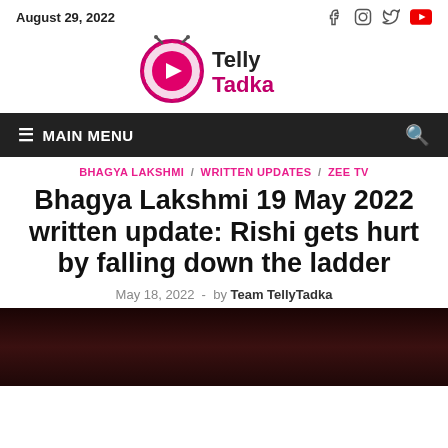August 29, 2022
[Figure (logo): Telly Tadka logo with pink/magenta circular TV icon and text 'Telly Tadka']
MAIN MENU
BHAGYA LAKSHMI / WRITTEN UPDATES / ZEE TV
Bhagya Lakshmi 19 May 2022 written update: Rishi gets hurt by falling down the ladder
May 18, 2022 - by Team TellyTadka
[Figure (photo): Dark-toned photo showing a person, partially visible at bottom of page]